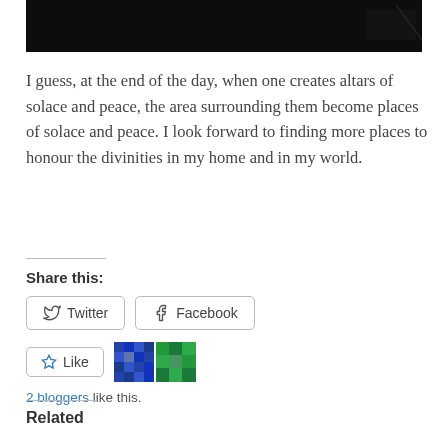[Figure (photo): Dark/black photograph partially visible at the top of the page]
I guess, at the end of the day, when one creates altars of solace and peace, the area surrounding them become places of solace and peace. I look forward to finding more places to honour the divinities in my home and in my world.
Share this:
Twitter   Facebook
Like
2 bloggers like this.
Related